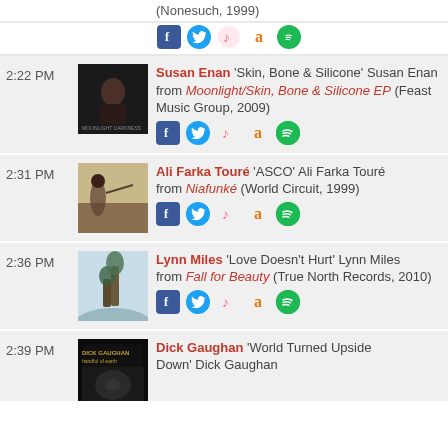(Nonesuch, 1999)
2:22 PM – Susan Enan 'Skin, Bone & Silicone' Susan Enan from Moonlight/Skin, Bone & Silicone EP (Feast Music Group, 2009)
2:31 PM – Ali Farka Touré 'ASCO' Ali Farka Touré from Niafunké (World Circuit, 1999)
2:36 PM – Lynn Miles 'Love Doesn't Hurt' Lynn Miles from Fall for Beauty (True North Records, 2010)
2:39 PM – Dick Gaughan 'World Turned Upside Down' Dick Gaughan